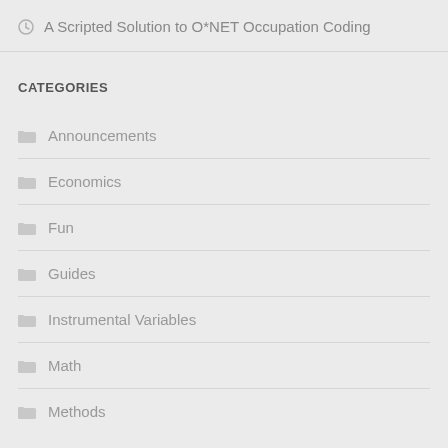A Scripted Solution to O*NET Occupation Coding
CATEGORIES
Announcements
Economics
Fun
Guides
Instrumental Variables
Math
Methods